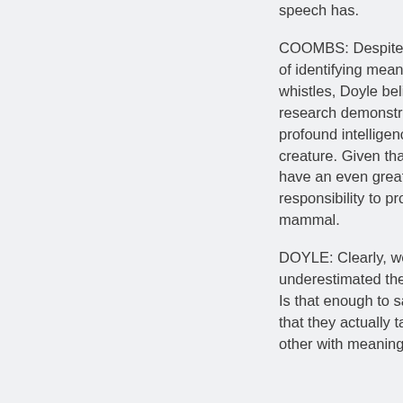...same distribution that speech has.
COOMBS: Despite the difficulty of identifying meaning in whistles, Doyle believes research demonstrates a profound intelligence in this creature. Given that, we have an even greater responsibility to protect this mammal.
DOYLE: Clearly, we have underestimated their... Is that enough to save... that they actually talk to each other with meaning a...